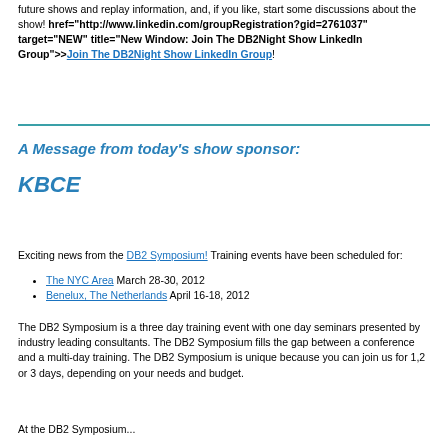future shows and replay information, and, if you like, start some discussions about the show! href="http://www.linkedin.com/groupRegistration?gid=2761037" target="NEW" title="New Window: Join The DB2Night Show LinkedIn Group">Join The DB2Night Show LinkedIn Group!
A Message from today's show sponsor:
KBCE
Exciting news from the DB2 Symposium! Training events have been scheduled for:
The NYC Area March 28-30, 2012
Benelux, The Netherlands April 16-18, 2012
The DB2 Symposium is a three day training event with one day seminars presented by industry leading consultants. The DB2 Symposium fills the gap between a conference and a multi-day training. The DB2 Symposium is unique because you can join us for 1,2 or 3 days, depending on your needs and budget.
At the DB2 Symposium...